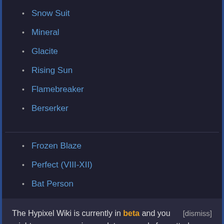Snow Suit
Mineral
Glacite
Rising Sun
Flamebreaker
Berserker
Frozen Blaze
Perfect (VIII-XII)
Bat Person
The Hypixel Wiki is currently in beta and you might come across incomplete or poorly formatted pages. Please report any issues you encounter here. [dismiss]
Shark Scale